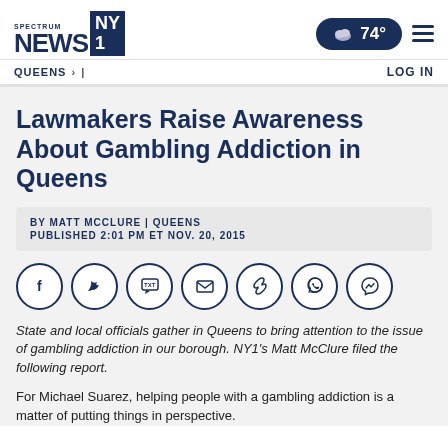SPECTRUM NEWS NY1 | 74° | QUEENS > | LOG IN
Lawmakers Raise Awareness About Gambling Addiction in Queens
BY MATT MCCLURE | QUEENS
PUBLISHED 2:01 PM ET NOV. 20, 2015
[Figure (infographic): Social share buttons: Facebook, Twitter, TXT, Email, Link, WhatsApp, Messenger]
State and local officials gather in Queens to bring attention to the issue of gambling addiction in our borough. NY1's Matt McClure filed the following report.
For Michael Suarez, helping people with a gambling addiction is a matter of putting things in perspective.